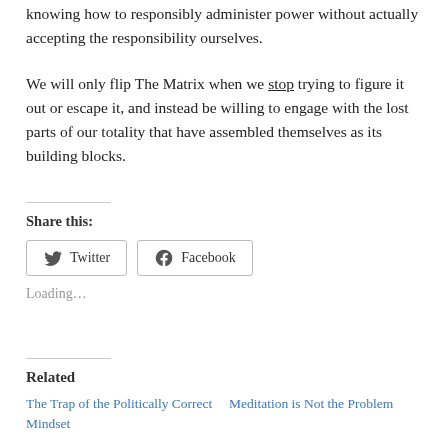knowing how to responsibly administer power without actually accepting the responsibility ourselves.
We will only flip The Matrix when we stop trying to figure it out or escape it, and instead be willing to engage with the lost parts of our totality that have assembled themselves as its building blocks.
Share this:
Twitter
Facebook
Loading...
Related
The Trap of the Politically Correct Mindset
Meditation is Not the Problem